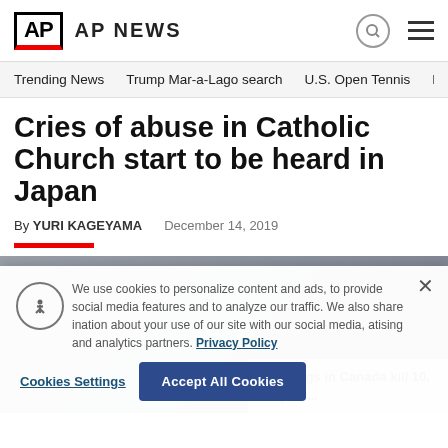AP  AP NEWS
Trending News   Trump Mar-a-Lago search   U.S. Open Tennis
Cries of abuse in Catholic Church start to be heard in Japan
By YURI KAGEYAMA   December 14, 2019
[Figure (photo): Article photo partially visible, with a related story card overlay: 'Stabbings in Canada kill 10, suspect...']
We use cookies to personalize content and ads, to provide social media features and to analyze our traffic. We also share information about your use of our site with our social media, advertising and analytics partners. Privacy Policy
Cookies Settings   Accept All Cookies